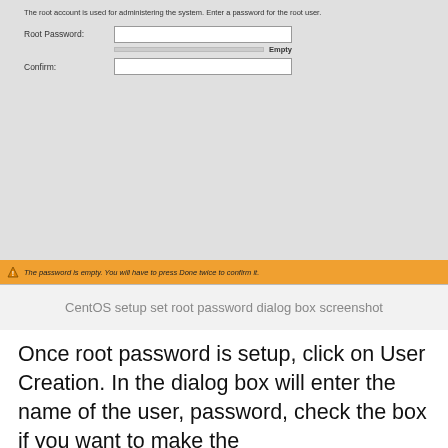[Figure (screenshot): CentOS setup root password dialog box screenshot showing Root Password and Confirm fields with an orange warning bar at the bottom reading 'The password is empty. You will have to press Done twice to confirm it.']
CentOS setup set root password dialog box screenshot
Once root password is setup, click on User Creation. In the dialog box will enter the name of the user, password, check the box if you want to make the